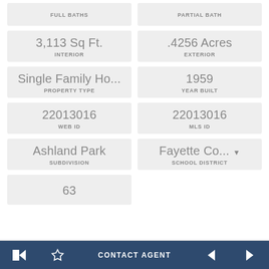FULL BATHS
PARTIAL BATH
3,113 Sq Ft. INTERIOR
.4256 Acres EXTERIOR
Single Family Ho... PROPERTY TYPE
1959 YEAR BUILT
22013016 WEB ID
22013016 MLS ID
Ashland Park SUBDIVISION
Fayette Co... SCHOOL DISTRICT
63